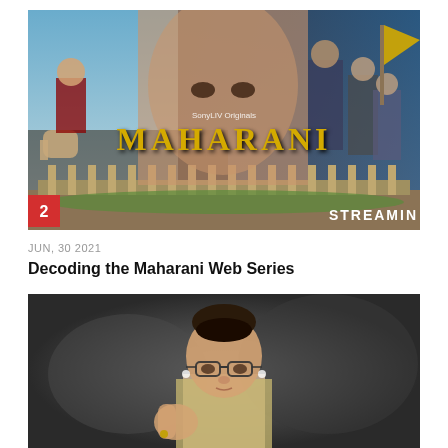[Figure (photo): Maharani web series poster on SonyLIV Originals showing lead actress in foreground, political figures behind, with MAHARANI title text and STREAMING label. Badge showing number 2 in red at bottom left.]
JUN, 30 2021
Decoding the Maharani Web Series
[Figure (photo): Photo of a woman with glasses speaking or gesturing, on a dark blurred background.]